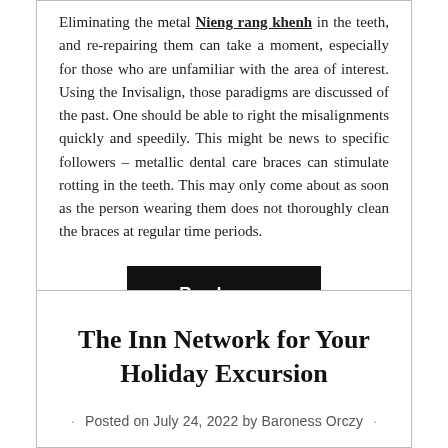Eliminating the metal Nieng rang khenh in the teeth, and re-repairing them can take a moment, especially for those who are unfamiliar with the area of interest. Using the Invisalign, those paradigms are discussed of the past. One should be able to right the misalignments quickly and speedily. This might be news to specific followers – metallic dental care braces can stimulate rotting in the teeth. This may only come about as soon as the person wearing them does not thoroughly clean the braces at regular time periods.
Read more
The Inn Network for Your Holiday Excursion
Posted on July 24, 2022 by Baroness Orczy